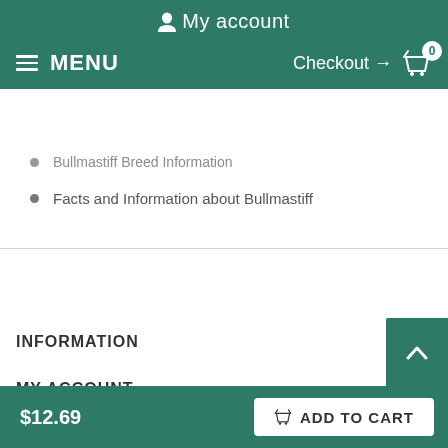My account
MENU  Checkout → 0
Bullmastiff Breed Information
Facts and Information about Bullmastiff
INFORMATION
MY ACCOUNT
FAQ
$12.69
ADD TO CART